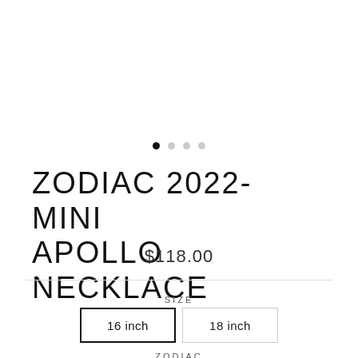[Figure (other): Image carousel dot indicators: one filled black dot followed by three light grey dots]
ZODIAC 2022- MINI APOLLO NECKLACE
$118.00
SIZE
16 inch
18 inch
ZODIAC